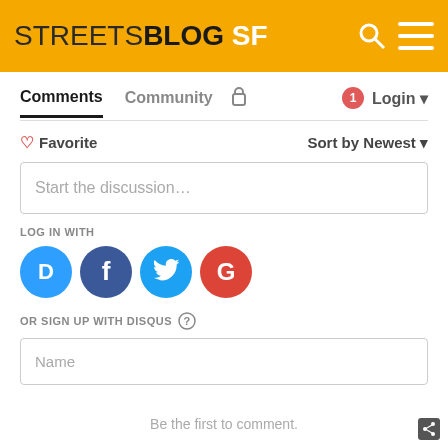STREETSBLOG SF
Comments  Community  Login
Favorite  Sort by Newest
Start the discussion...
LOG IN WITH
[Figure (screenshot): Social login icons: Disqus (blue), Facebook (dark blue), Twitter (light blue), Google (red)]
OR SIGN UP WITH DISQUS
Name
Be the first to comment.